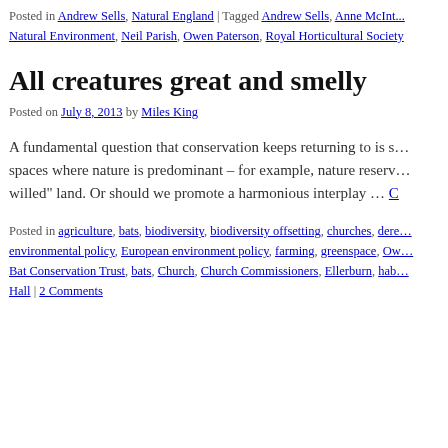Posted in Andrew Sells, Natural England | Tagged Andrew Sells, Anne McInt... Natural Environment, Neil Parish, Owen Paterson, Royal Horticultural Society
All creatures great and smelly
Posted on July 8, 2013 by Miles King
A fundamental question that conservation keeps returning to is s... spaces where nature is predominant – for example, nature reserv... willed" land. Or should we promote a harmonious interplay … C
Posted in agriculture, bats, biodiversity, biodiversity offsetting, churches, dere... environmental policy, European environment policy, farming, greenspace, Ow... Bat Conservation Trust, bats, Church, Church Commissioners, Ellerburn, hab... Hall | 2 Comments